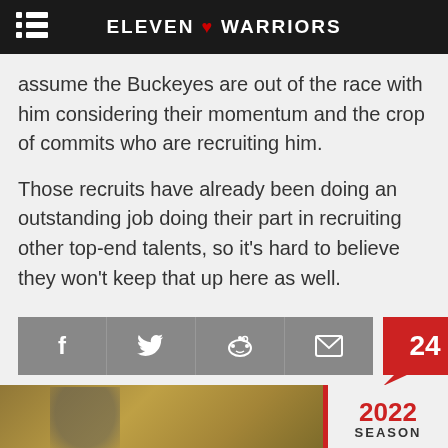ELEVEN ❤ WARRIORS
assume the Buckeyes are out of the race with him considering their momentum and the crop of commits who are recruiting him.
Those recruits have already been doing an outstanding job doing their part in recruiting other top-end talents, so it's hard to believe they won't keep that up here as well.
[Figure (other): Social share buttons row: Facebook, Twitter, Reddit, Email icons in grey buttons, and a red comment button showing count 24]
[Figure (photo): Bottom partial image showing Ohio State football player and 2022 SEASON text overlay]